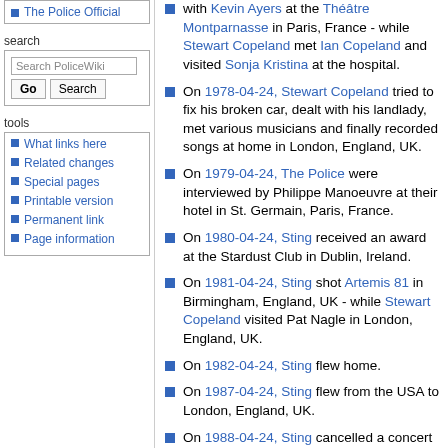The Police Official
search
What links here
Related changes
Special pages
Printable version
Permanent link
Page information
with Kevin Ayers at the Théâtre Montparnasse in Paris, France - while Stewart Copeland met Ian Copeland and visited Sonja Kristina at the hospital.
On 1978-04-24, Stewart Copeland tried to fix his broken car, dealt with his landlady, met various musicians and finally recorded songs at home in London, England, UK.
On 1979-04-24, The Police were interviewed by Philippe Manoeuvre at their hotel in St. Germain, Paris, France.
On 1980-04-24, Sting received an award at the Stardust Club in Dublin, Ireland.
On 1981-04-24, Sting shot Artemis 81 in Birmingham, England, UK - while Stewart Copeland visited Pat Nagle in London, England, UK.
On 1982-04-24, Sting flew home.
On 1987-04-24, Sting flew from the USA to London, England, UK.
On 1988-04-24, Sting cancelled a concert at the stadium Riviera delle Palme in San Benedetto del Tronto, Italy.